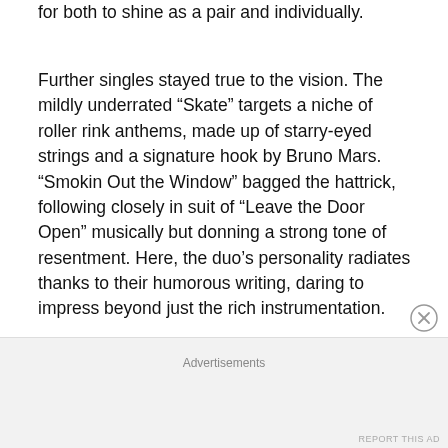for both to shine as a pair and individually.
Further singles stayed true to the vision. The mildly underrated “Skate” targets a niche of roller rink anthems, made up of starry-eyed strings and a signature hook by Bruno Mars. “Smokin Out the Window” bagged the hattrick, following closely in suit of “Leave the Door Open” musically but donning a strong tone of resentment. Here, the duo’s personality radiates thanks to their humorous writing, daring to impress beyond just the rich instrumentation.
Advertisements